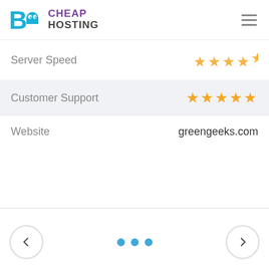BIG CHEAP HOSTING
| Category | Rating/Value |
| --- | --- |
| Server Speed | ★★★★★ (partial 5th) |
| Customer Support | ★★★★★ |
| Website | greengeeks.com |